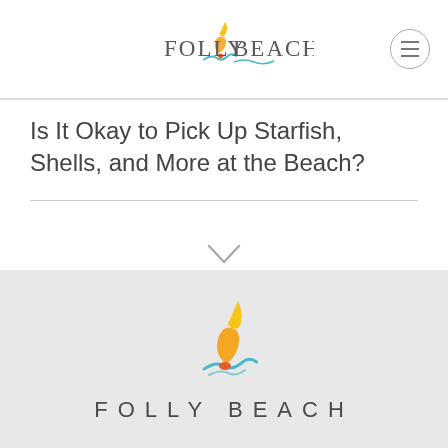[Figure (logo): Folly Beach logo with sailboat/wave icon in header navigation bar]
Is It Okay to Pick Up Starfish, Shells, and More at the Beach?
[Figure (logo): Folly Beach full logo with sailboat/wave icon and FOLLY BEACH text in footer section]